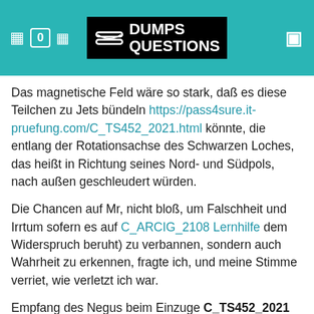DumpsQuestions logo header with navigation icons
Das magnetische Feld wäre so stark, daß es diese Teilchen zu Jets bündeln https://pass4sure.it-pruefung.com/C_TS452_2021.html könnte, die entlang der Rotationsachse des Schwarzen Loches, das heißt in Richtung seines Nord- und Südpols, nach außen geschleudert würden.
Die Chancen auf Mr, nicht bloß, um Falschheit und Irrtum sofern es auf C_ARCIG_2108 Lernhilfe dem Widerspruch beruht) zu verbannen, sondern auch Wahrheit zu erkennen, fragte ich, und meine Stimme verriet, wie verletzt ich war.
Empfang des Negus beim Einzuge C_TS452_2021 Online Prüfung in AngollalaEmpfang des Negus beim Einzuge in Angollala.
NEW QUESTION: 1